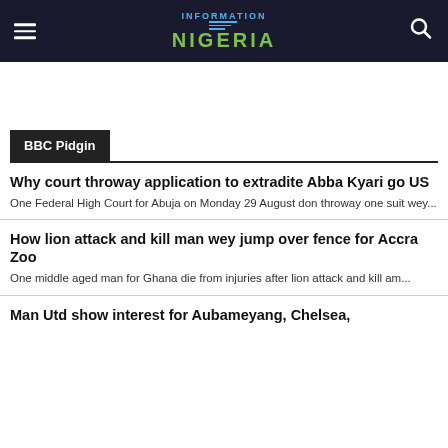Information Nigeria
BBC Pidgin
Why court throway application to extradite Abba Kyari go US
One Federal High Court for Abuja on Monday 29 August don throway one suit wey...
How lion attack and kill man wey jump over fence for Accra Zoo
One middle aged man for Ghana die from injuries after lion attack and kill am...
Man Utd show interest for Aubameyang, Chelsea,